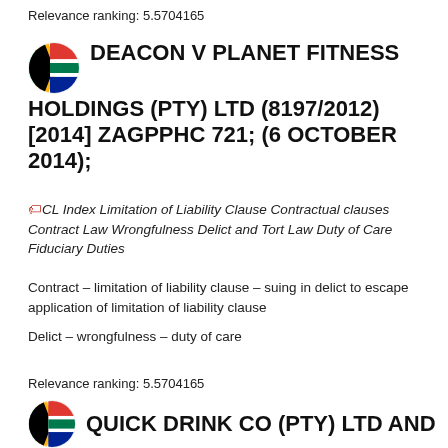Relevance ranking: 5.5704165
DEACON V PLANET FITNESS HOLDINGS (PTY) LTD (8197/2012) [2014] ZAGPPHC 721; (6 OCTOBER 2014);
CL Index Limitation of Liability Clause Contractual clauses Contract Law Wrongfulness Delict and Tort Law Duty of Care Fiduciary Duties
Contract – limitation of liability clause – suing in delict to escape application of limitation of liability clause
Delict  – wrongfulness – duty of care
Relevance ranking: 5.5704165
QUICK DRINK CO (PTY) LTD AND